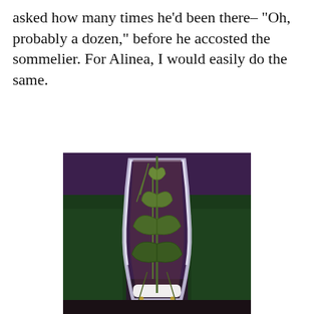asked how many times he'd been there– "Oh, probably a dozen," before he accosted the sommelier. For Alinea, I would easily do the same.
[Figure (photo): A glass decanter or vase containing green herb sprigs (rosemary and mint-like leaves), lit dramatically with purple background lighting. A person in a dark green jacket is visible blurred in the background.]